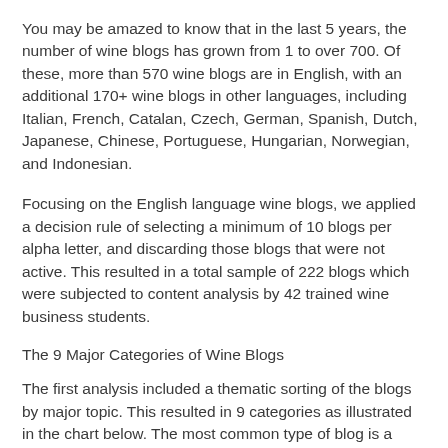You may be amazed to know that in the last 5 years, the number of wine blogs has grown from 1 to over 700. Of these, more than 570 wine blogs are in English, with an additional 170+ wine blogs in other languages, including Italian, French, Catalan, Czech, German, Spanish, Dutch, Japanese, Chinese, Portuguese, Hungarian, Norwegian, and Indonesian.
Focusing on the English language wine blogs, we applied a decision rule of selecting a minimum of 10 blogs per alpha letter, and discarding those blogs that were not active. This resulted in a total sample of 222 blogs which were subjected to content analysis by 42 trained wine business students.
The 9 Major Categories of Wine Blogs
The first analysis included a thematic sorting of the blogs by major topic. This resulted in 9 categories as illustrated in the chart below. The most common type of blog is a Wine Review for which an individual blogger tastes and writes a review of the wine -- usually adding a rating from the standard 100, 20, or 5 point wine rating scales.